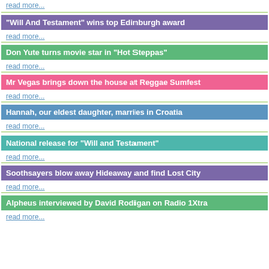read more...
"Will And Testament" wins top Edinburgh award
read more...
Don Yute turns movie star in "Hot Steppas"
read more...
Mr Vegas brings down the house at Reggae Sumfest
read more...
Hannah, our eldest daughter, marries in Croatia
read more...
National release for "Will and Testament"
read more...
Soothsayers blow away Hideaway and find Lost City
read more...
Alpheus interviewed by David Rodigan on Radio 1Xtra
read more...